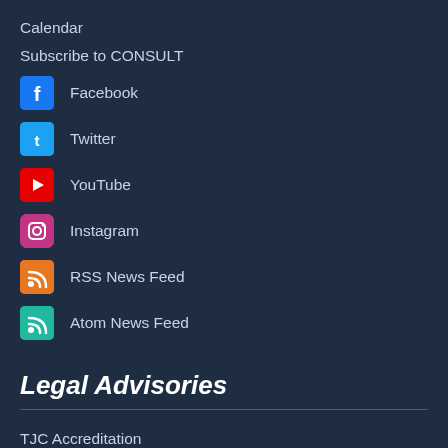Calendar
Subscribe to CONSULT
Facebook
Twitter
YouTube
Instagram
RSS News Feed
Atom News Feed
Legal Advisories
TJC Accreditation
Non-Discrimination Notice
Compliance Line
Ethics Line
Legal Disclaimer
Privacy Policy
Web Support